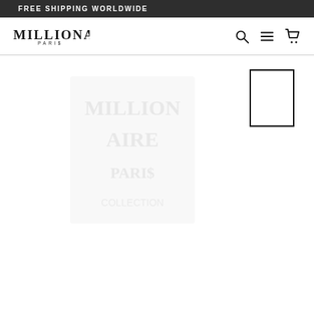FREE SHIPPING WORLDWIDE
[Figure (logo): MILLIONAIRE PARIS brand logo with stylized serif text]
[Figure (screenshot): E-commerce product page showing a faded/loading product image on the left and a small thumbnail rectangle outline on the upper right]